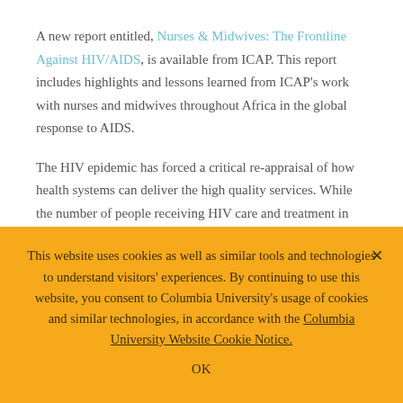A new report entitled, Nurses & Midwives: The Frontline Against HIV/AIDS, is available from ICAP. This report includes highlights and lessons learned from ICAP's work with nurses and midwives throughout Africa in the global response to AIDS.
The HIV epidemic has forced a critical re-appraisal of how health systems can deliver the high quality services. While the number of people receiving HIV care and treatment in sub-Saharan Africa has increased almost a hundredfold in the
This website uses cookies as well as similar tools and technologies to understand visitors' experiences. By continuing to use this website, you consent to Columbia University's usage of cookies and similar technologies, in accordance with the Columbia University Website Cookie Notice.
OK